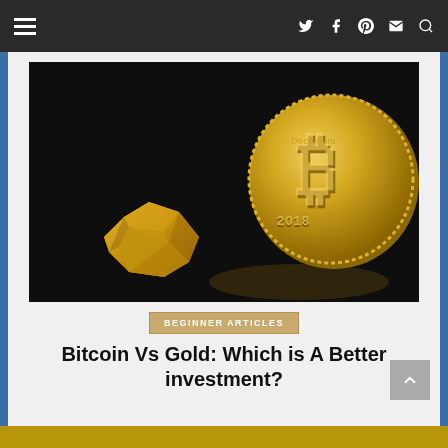Navigation bar with hamburger menu and social icons (Twitter, Facebook, Pinterest, Email, Search)
[Figure (photo): A gold Bitcoin coin (dated 2018) standing upright next to a gold nugget, both on a dark background]
BEGINNER ARTICLES
Bitcoin Vs Gold: Which is A Better investment?